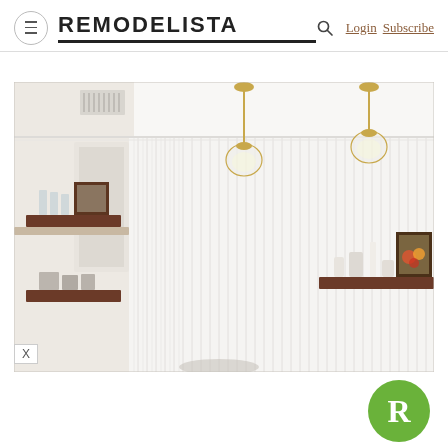REMODELISTA — Login  Subscribe
[Figure (photo): Kitchen interior with white vertical tile wall, two brass pendant lights with glass globes, dark wood floating shelves holding glassware, ceramics, and a framed artwork of fruit]
[Figure (logo): Green circular badge with white letter R — Remodelista logo]